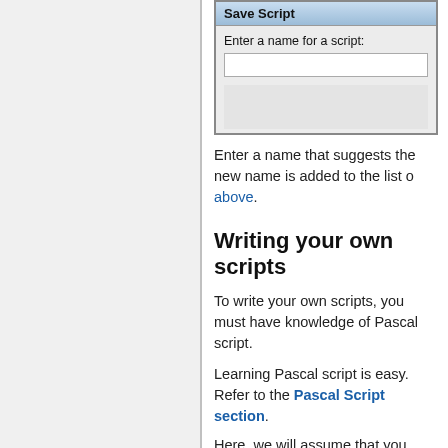[Figure (screenshot): Save Script dialog box with title bar 'Save Script', label 'Enter a name for a script:', a text input field, and a grey area below.]
Enter a name that suggests the new name is added to the list of above.
Writing your own scripts
To write your own scripts, you must have knowledge of Pascal script.
Learning Pascal script is easy. Refer to the Pascal Script section.
Here, we will assume that you already know how to write pascal